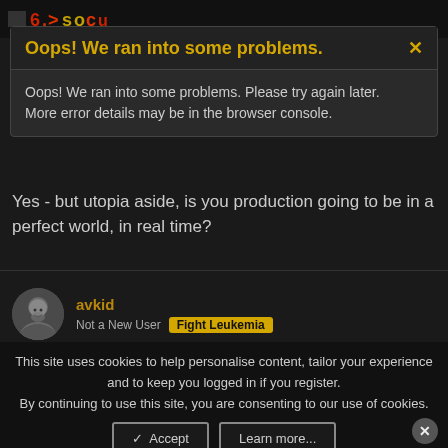[Figure (screenshot): Dark-themed forum/website screenshot showing an error modal overlay, a question post, user 'avkid' with 'Fight Leukemia' badge, a cookie consent banner, and partial post body text, with another user 'cutlunch' visible at the bottom.]
Oops! We ran into some problems.
Oops! We ran into some problems. Please try again later. More error details may be in the browser console.
Yes - but utopia aside, is you production going to be in a perfect world, in real time?
avkid
Not a New User  Fight Leukemia
This site uses cookies to help personalise content, tailor your experience and to keep you logged in if you register.
By continuing to use this site, you are consenting to our use of cookies.
control unit,all standard carbon copy type mass installation clocks have a central control unit of some kind.
cutlunch
Active Member